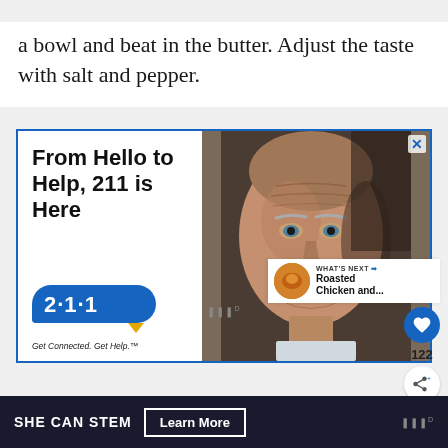reduce it by half again. Strain the sauce into a bowl and beat in the butter. Adjust the taste with salt and pepper.
[Figure (screenshot): Advertisement banner for 211 helpline service. Left side has white background with bold text 'From Hello to Help, 211 is Here', a blue rounded badge showing '2·1·1' with an orange speech-bubble tail, and tagline 'Get Connected. Get Help.' Right side shows a close-up photo of an elderly man's face with deep wrinkles looking directly at camera. Blue border around the entire ad with an X close button in top right.]
122
[Figure (screenshot): WHAT'S NEXT arrow label with thumbnail of roasted chicken dish and text 'Roasted Chicken and...']
SHE CAN STEM
Learn More